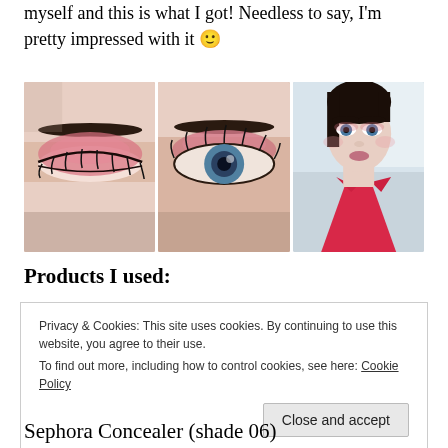myself and this is what I got! Needless to say, I'm pretty impressed with it 🙂
[Figure (photo): Three close-up photos of eye makeup look: two close-ups of an eye with pink/rose eyeshadow, and a full face selfie showing the completed makeup look]
Products I used:
Privacy & Cookies: This site uses cookies. By continuing to use this website, you agree to their use.
To find out more, including how to control cookies, see here: Cookie Policy
Close and accept
Sephora Concealer (shade 06)